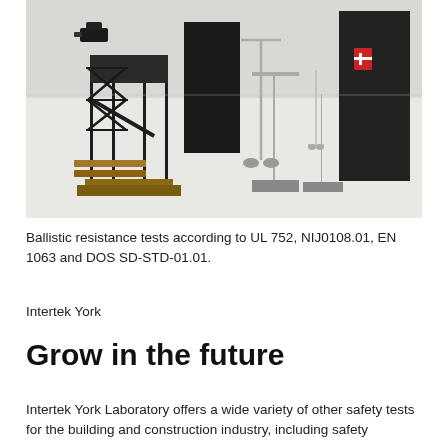[Figure (photo): Ballistic testing laboratory with a metal frame testing stand/fixture mounted on wooden pallets in the foreground, light stands and black acoustic/ballistic panels in the background, white/grey floor and walls.]
Ballistic resistance tests according to UL 752, NIJ0108.01, EN 1063 and DOS SD-STD-01.01.
Intertek York
Grow in the future
Intertek York Laboratory offers a wide variety of other safety tests for the building and construction industry, including safety